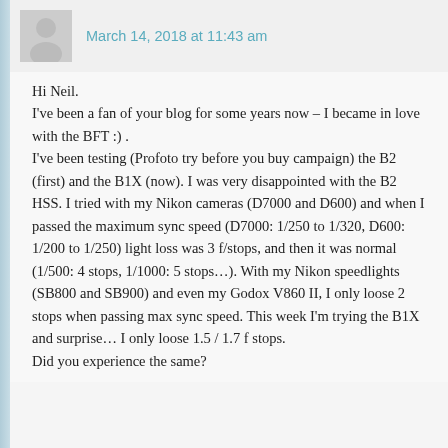March 14, 2018 at 11:43 am
Hi Neil.
I've been a fan of your blog for some years now – I became in love with the BFT :) .
I've been testing (Profoto try before you buy campaign) the B2 (first) and the B1X (now). I was very disappointed with the B2 HSS. I tried with my Nikon cameras (D7000 and D600) and when I passed the maximum sync speed (D7000: 1/250 to 1/320, D600: 1/200 to 1/250) light loss was 3 f/stops, and then it was normal (1/500: 4 stops, 1/1000: 5 stops…). With my Nikon speedlights (SB800 and SB900) and even my Godox V860 II, I only loose 2 stops when passing max sync speed. This week I'm trying the B1X and surprise… I only loose 1.5 / 1.7 f stops.
Did you experience the same?